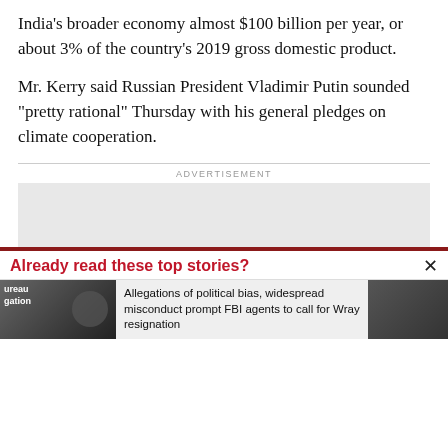India’s broader economy almost $100 billion per year, or about 3% of the country’s 2019 gross domestic product.
Mr. Kerry said Russian President Vladimir Putin sounded “pretty rational” Thursday with his general pledges on climate cooperation.
ADVERTISEMENT
[Figure (other): Advertisement placeholder box]
Already read these top stories?
Allegations of political bias, widespread misconduct prompt FBI agents to call for Wray resignation